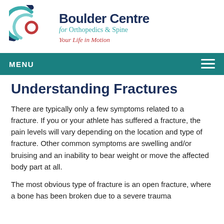[Figure (logo): Boulder Centre for Orthopedics & Spine logo with circular arc graphic in teal and navy, red circle in center, and tagline 'Your Life in Motion']
MENU
Understanding Fractures
There are typically only a few symptoms related to a fracture. If you or your athlete has suffered a fracture, the pain levels will vary depending on the location and type of fracture. Other common symptoms are swelling and/or bruising and an inability to bear weight or move the affected body part at all.
The most obvious type of fracture is an open fracture, where a bone has been broken due to a severe trauma